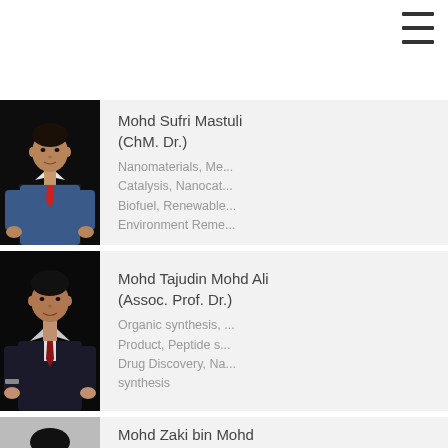[Figure (other): Hamburger/menu icon (three horizontal lines) in top right corner]
[Figure (photo): Portrait photo of Mohd Sufri Mastuli against dark background, wearing blue checked shirt and red tie]
Mohd Sufri Mastuli
(ChM. Dr.)
Nanomaterials, Me... Catalysis, Nanocat... Biofuel, Renewable... Environment Reme...
[Figure (photo): Portrait photo of Mohd Tajudin Mohd Ali against dark background, wearing dark suit with red tie]
Mohd Tajudin Mohd Ali
(Assoc. Prof. Dr.)
Organic synthesis, ... Product, Peptide s... Drug Discovery, Na... synthesis
[Figure (photo): Portrait photo of Mohd Zaki bin Mohd Yusoff against light background, wearing glasses]
Mohd Zaki bin Mohd
Yusoff (Ts. Dr.)
III-Nitrides, ZnO, S... simulation and dev...